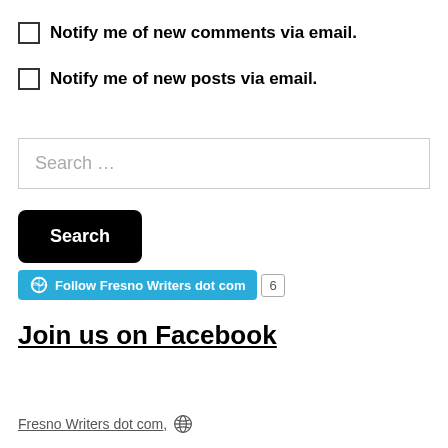Notify me of new comments via email.
Notify me of new posts via email.
Search ...
Search
[Figure (other): WordPress Follow button: Follow Fresno Writers dot com with follower count badge showing 6]
Join us on Facebook
Fresno Writers dot com, [WordPress logo]